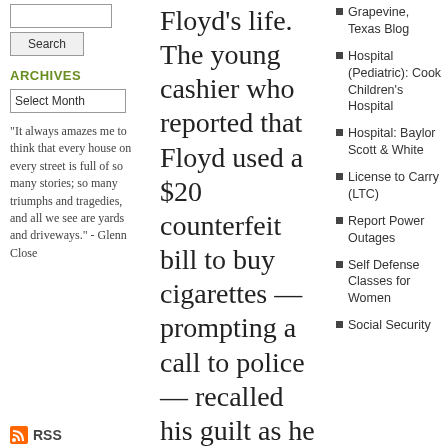Search
ARCHIVES
Select Month
"It always amazes me to think that every house on every street is full of so many stories; so many triumphs and tragedies, and all we see are yards and driveways." - Glenn Close
RSS
Floyd's life. The young cashier who reported that Floyd used a $20 counterfeit bill to buy cigarettes — prompting a call to police — recalled his guilt as he watched Floyd struggling to breathe.
Attorneys on both sides at the trial of former Officer Derek Chauvin face...
Grapevine, Texas Blog
Hospital (Pediatric): Cook Children's Hospital
Hospital: Baylor Scott & White
License to Carry (LTC)
Report Power Outages
Self Defense Classes for Women
Social Security